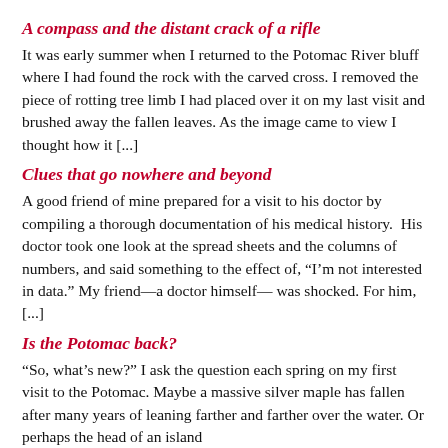A compass and the distant crack of a rifle
It was early summer when I returned to the Potomac River bluff where I had found the rock with the carved cross. I removed the piece of rotting tree limb I had placed over it on my last visit and brushed away the fallen leaves. As the image came to view I thought how it [...]
Clues that go nowhere and beyond
A good friend of mine prepared for a visit to his doctor by compiling a thorough documentation of his medical history.  His doctor took one look at the spread sheets and the columns of numbers, and said something to the effect of, “I’m not interested in data.” My friend—a doctor himself— was shocked. For him, [...]
Is the Potomac back?
“So, what’s new?” I ask the question each spring on my first visit to the Potomac. Maybe a massive silver maple has fallen after many years of leaning farther and farther over the water. Or perhaps the head of an island